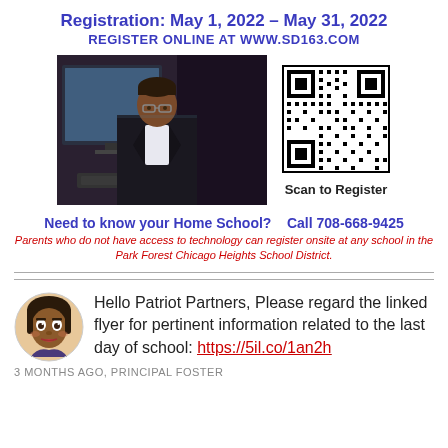Registration: May 1, 2022 – May 31, 2022
REGISTER ONLINE AT WWW.SD163.COM
[Figure (photo): A man in a suit jacket at a computer, dark background]
[Figure (other): QR code to scan and register]
Scan to Register
Need to know your Home School?    Call 708-668-9425
Parents who do not have access to technology can register onsite at any school in the Park Forest Chicago Heights School District.
Hello Patriot Partners, Please regard the linked flyer for pertinent information related to the last day of school: https://5il.co/1an2h
3 MONTHS AGO, PRINCIPAL FOSTER